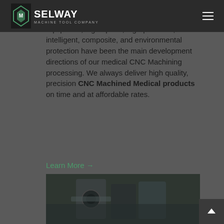Selway Machine Tool Company
component manufacturing services. the high-volume and development needs of medical equipment, high-speed, high-precision, intelligent, composite, and environmental protection have been the main development directions of our medical CNC Machining processing. We always deliver high quality, precision CNC Machined Medical products on time and at affordable rates.
Learn More →
[Figure (photo): Close-up photo of dark machined metal parts — CNC machined components]